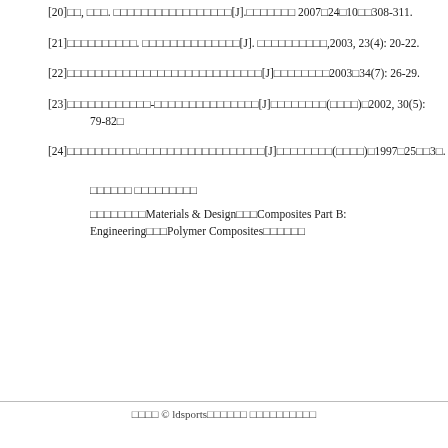[20]□□, □□□. □□□□□□□□□□□□□□□□□[J].□□□□□□□ 2007□24□10□□308-311.
[21]□□□□□□□□□□. □□□□□□□□□□□□□□[J]. □□□□□□□□□□,2003, 23(4): 20-22.
[22]□□□□□□□□□□□□□□□□□□□□□□□□□□□□[J]□□□□□□□□2003□34(7): 26-29.
[23]□□□□□□□□□□□□-□□□□□□□□□□□□□□□[J]□□□□□□□□(□□□□)□2002, 30(5): 79-82□
[24]□□□□□□□□□□.□□□□□□□□□□□□□□□□□□[J]□□□□□□□□(□□□□)□1997□25□□3□.
□□□□□□ □□□□□□□□□
□□□□□□□□Materials & Design□□□Composites Part B: Engineering□□□Polymer Composites□□□□□□
□□□□ © ldsports□□□□□□ □□□□□□□□□□